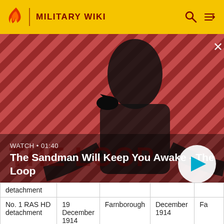MILITARY WIKI
[Figure (screenshot): Video thumbnail showing a dark-clad figure with a raven on shoulder against a red diagonal striped background. Text overlay reads WATCH • 01:40 and The Sandman Will Keep You Awake - The Loop with a play button.]
| detachment |  |  |  |  |
| No. 1 RAS HD detachment | 19 December 1914 | Farnborough | December 1914 | Fa |
| No. 7 Sqn | 22 | Netheravon | December | N |